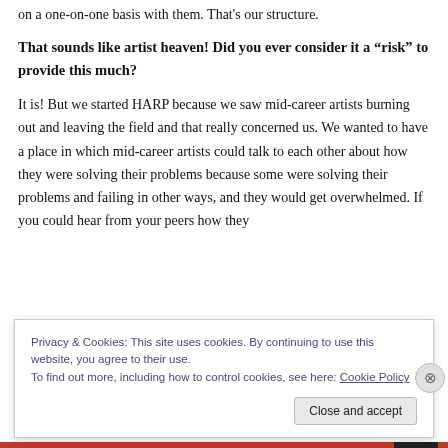on a one-on-one basis with them. That's our structure.
That sounds like artist heaven! Did you ever consider it a “risk” to provide this much?
It is! But we started HARP because we saw mid-career artists burning out and leaving the field and that really concerned us. We wanted to have a place in which mid-career artists could talk to each other about how they were solving their problems because some were solving their problems and failing in other ways, and they would get overwhelmed. If you could hear from your peers how they
Privacy & Cookies: This site uses cookies. By continuing to use this website, you agree to their use.
To find out more, including how to control cookies, see here: Cookie Policy
Close and accept